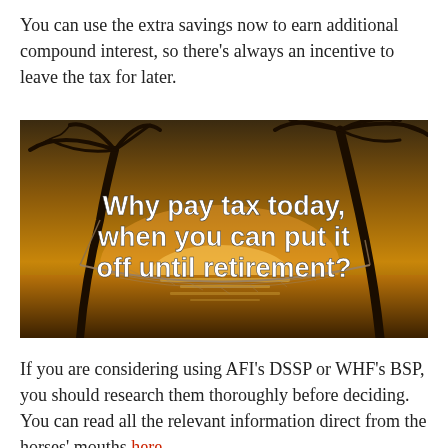You can use the extra savings now to earn additional compound interest, so there's always an incentive to leave the tax for later.
[Figure (photo): A tropical beach sunset scene with palm trees and a hammock, overlaid with bold white text reading: 'Why pay tax today, when you can put it off until retirement?']
If you are considering using AFI's DSSP or WHF's BSP, you should research them thoroughly before deciding. You can read all the relevant information direct from the horses' mouths here